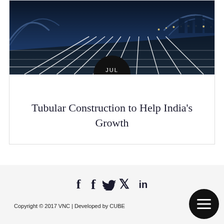[Figure (photo): Night-time photo of a modern road/highway with white lane markings and illuminated architectural structures in the background, blue-toned lighting]
Tubular Construction to Help India's Growth
[Figure (infographic): Social media icons: Facebook (f), Twitter (bird), LinkedIn (in)]
Copyright © 2017 VNC | Developed by CUBE